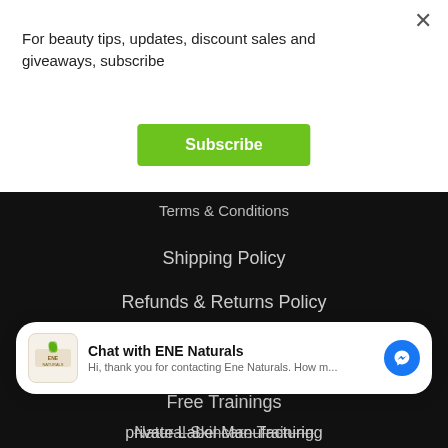For beauty tips, updates, discount sales and giveaways, subscribe
Subscribe
Terms & Conditions
Shipping Policy
Refunds & Returns Policy
GET STARTED
Free Trainings
Natural Skincare Training
[Figure (screenshot): Chat widget for ENE Naturals with messenger icon, showing text: Hi, thank you for contacting Ene Naturals. How m...]
private Label Manufacturing